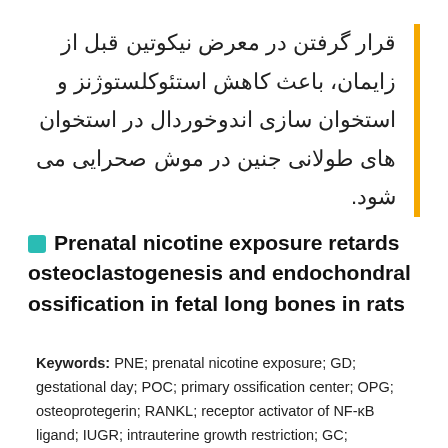قرار گرفتن در معرض نیکوتین قبل از زایمان، باعث کاهش استئوکلستوژنز و استخوان سازی اندوخوردال در استخوان های طولانی جنین در موش صحرایی می شود.
Prenatal nicotine exposure retards osteoclastogenesis and endochondral ossification in fetal long bones in rats
Keywords: PNE; prenatal nicotine exposure; GD; gestational day; POC; primary ossification center; OPG; osteoprotegerin; RANKL; receptor activator of NF-κB ligand; IUGR; intrauterine growth restriction; GC; glucocorticoid; TRAP; tartrate-resistant acid